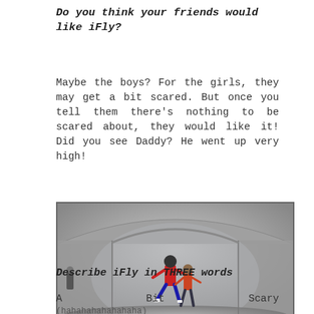Do you think your friends would like iFly?
Maybe the boys? For the girls, they may get a bit scared. But once you tell them there's nothing to be scared about, they would like it! Did you see Daddy? He went up very high!
[Figure (photo): Photo of a person in a wind tunnel at iFly indoor skydiving facility, black and white image showing circular tunnel with glass walls]
Describe iFly in THREE words
A          Bit          Scary